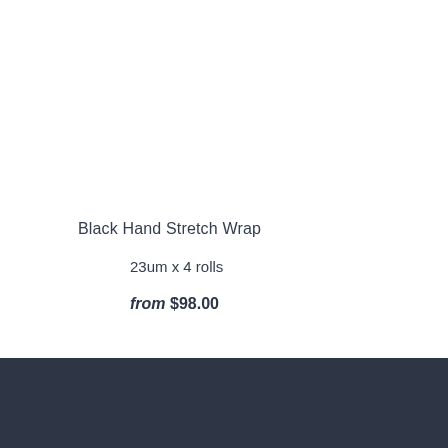Black Hand Stretch Wrap
23um x 4 rolls
from $98.00
Follow